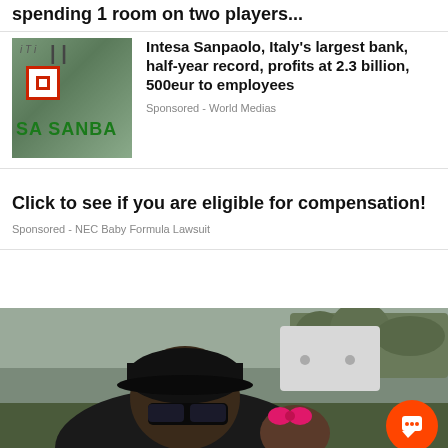spending 1 room on two players...
[Figure (photo): Intesa Sanpaolo bank exterior sign with green lettering and red logo box, partial storefront photo]
Intesa Sanpaolo, Italy’s largest bank, half-year record, profits at 2.3 billion, 500eur to employees
Sponsored - World Medias
Click to see if you are eligible for compensation!
Sponsored - NEC Baby Formula Lawsuit
[Figure (photo): A man wearing a black cap and sunglasses taking a selfie with a young girl wearing a pink bow, outdoors near a white vehicle with trees in the background. An orange chat button overlay is visible in the bottom right.]